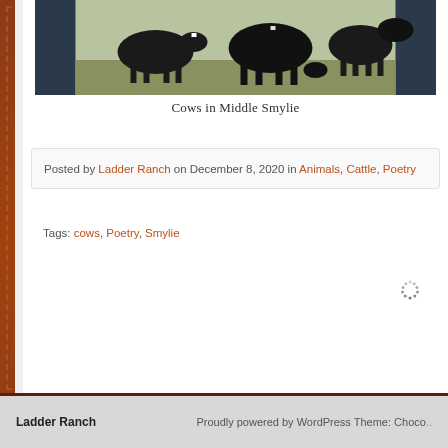[Figure (photo): Black Angus cows grazing in a field at Middle Smylie ranch]
Cows in Middle Smylie
Posted by Ladder Ranch on December 8, 2020 in Animals, Cattle, Poetry
Tags: cows, Poetry, Smylie
Ladder Ranch    Proudly powered by WordPress Theme: Choco..